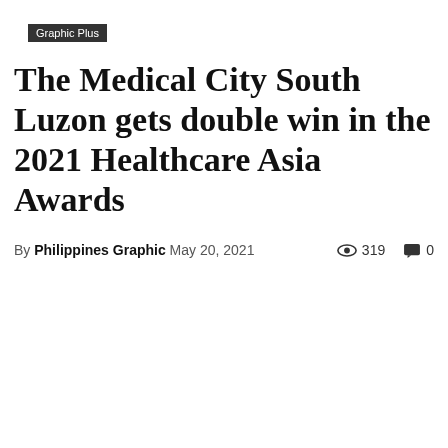Graphic Plus
The Medical City South Luzon gets double win in the 2021 Healthcare Asia Awards
By Philippines Graphic May 20, 2021  319  0